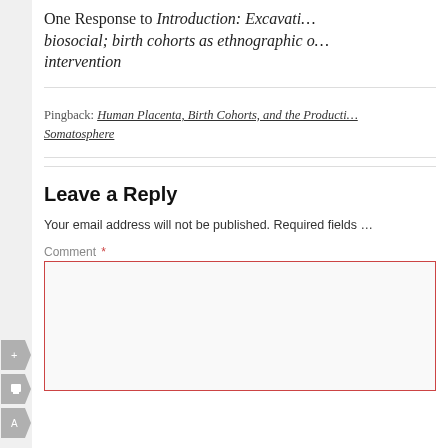One Response to Introduction: Excavating the biosocial; birth cohorts as ethnographic objects of intervention
Pingback: Human Placenta, Birth Cohorts, and the Production of… Somatosphere
Leave a Reply
Your email address will not be published. Required fields …
Comment *